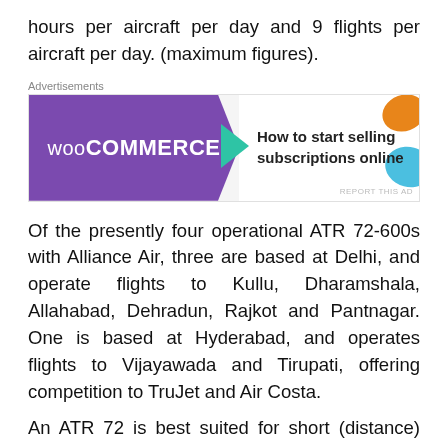hours per aircraft per day and 9 flights per aircraft per day. (maximum figures).
[Figure (other): WooCommerce advertisement banner: 'How to start selling subscriptions online']
Of the presently four operational ATR 72-600s with Alliance Air, three are based at Delhi, and operate flights to Kullu, Dharamshala, Allahabad, Dehradun, Rajkot and Pantnagar. One is based at Hyderabad, and operates flights to Vijayawada and Tirupati, offering competition to TruJet and Air Costa.
An ATR 72 is best suited for short (distance) and thin (low demand) routes of upto 350 nautical miles. Beyond this, a regional jet generally becomes a more viable and economical option. The shortest ATR 72 sector in India is